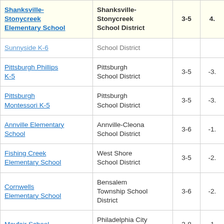| School | District | Grades | Score |
| --- | --- | --- | --- |
| Shanksville-Stonycreek Elementary School | Shanksville-Stonycreek School District | 3-5 | 4. |
| Sunnyside K-6 | School District |  |  |
| Pittsburgh Phillips K-5 | Pittsburgh School District | 3-5 | -3. |
| Pittsburgh Montessori K-5 | Pittsburgh School District | 3-5 | -3. |
| Annville Elementary School | Annville-Cleona School District | 3-6 | -1. |
| Fishing Creek Elementary School | West Shore School District | 3-5 | -2. |
| Cornwells Elementary School | Bensalem Township School District | 3-6 | -2. |
| Mayfair School | Philadelphia City School District | 3-8 | -1. |
|  | Uniontown Area |  |  |